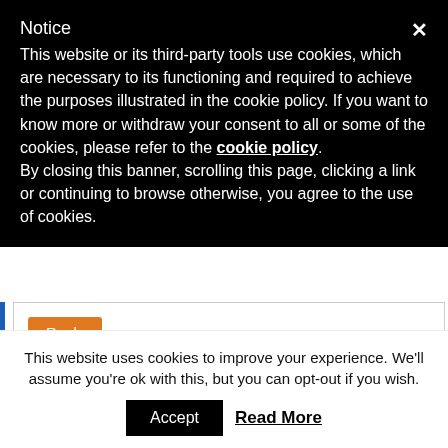Notice
This website or its third-party tools use cookies, which are necessary to its functioning and required to achieve the purposes illustrated in the cookie policy. If you want to know more or withdraw your consent to all or some of the cookies, please refer to the cookie policy.
By closing this banner, scrolling this page, clicking a link or continuing to browse otherwise, you agree to the use of cookies.
Reply
ezee
August 3, 2017 at 9:17 AM
This website uses cookies to improve your experience. We'll assume you're ok with this, but you can opt-out if you wish.
Accept  Read More